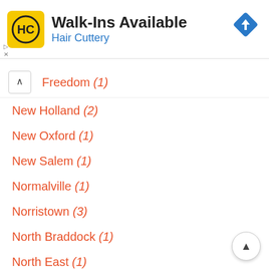[Figure (logo): Hair Cuttery advertisement banner with HC logo (yellow square with HC letters), title 'Walk-Ins Available', subtitle 'Hair Cuttery', and blue diamond navigation icon]
Freedom (1)
New Holland (2)
New Oxford (1)
New Salem (1)
Normalville (1)
Norristown (3)
North Braddock (1)
North East (1)
Northampton (1)